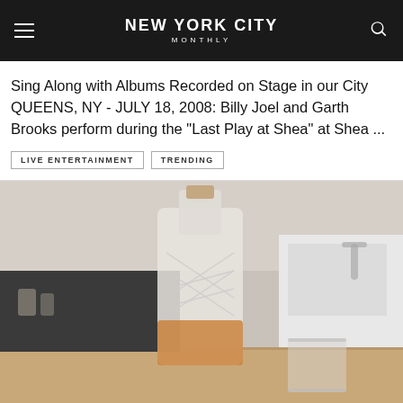New York City Monthly
Sing Along with Albums Recorded on Stage in our City QUEENS, NY - JULY 18, 2008: Billy Joel and Garth Brooks perform during the "Last Play at Shea" at Shea ...
LIVE ENTERTAINMENT
TRENDING
[Figure (photo): A clear glass liquor decanter bottle with a decorative geometric line pattern, partially filled with amber liquid at the bottom, alongside a short glass tumbler, set on a wooden surface with a modern kitchen background.]